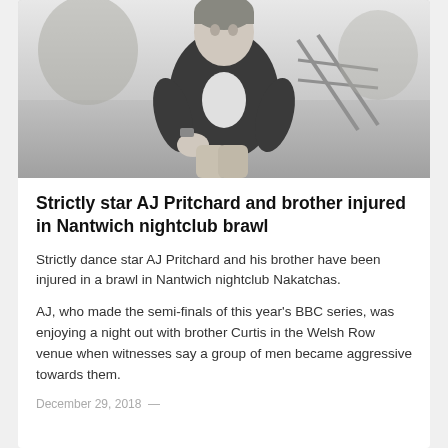[Figure (photo): Black and white photo of a young man in a leather jacket crouching on a path outdoors]
Strictly star AJ Pritchard and brother injured in Nantwich nightclub brawl
Strictly dance star AJ Pritchard and his brother have been injured in a brawl in Nantwich nightclub Nakatchas.
AJ, who made the semi-finals of this year’s BBC series, was enjoying a night out with brother Curtis in the Welsh Row venue when witnesses say a group of men became aggressive towards them.
December 29, 2018  —